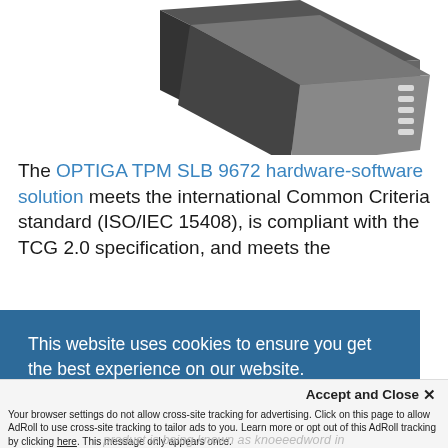[Figure (illustration): Stylized illustration of IC chips / semiconductor packages (dark gray angular shapes with white pin markings) on white background, partially cropped at top.]
The OPTIGA TPM SLB 9672 hardware-software solution meets the international Common Criteria standard (ISO/IEC 15408), is compliant with the TCG 2.0 specification, and meets the [partially obscured] ...ware ...ular ...
This website uses cookies to ensure you get the best experience on our website. Learn More
Accept and Close ✕
Your browser settings do not allow cross-site tracking for advertising. Click on this page to allow AdRoll to use cross-site tracking to tailor ads to you. Learn more or opt out of this AdRoll tracking by clicking here. This message only appears once.
product is being known as knoeeedword in